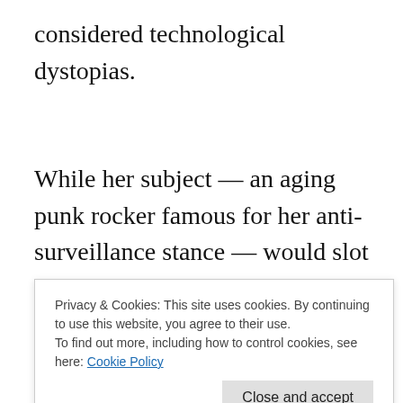considered technological dystopias.
While her subject — an aging punk rocker famous for her anti-surveillance stance — would slot in comfortably as the protagonist in more cookie-cutter cyber-noir stories, here Williamson has the far more
Privacy & Cookies: This site uses cookies. By continuing to use this website, you agree to their use.
To find out more, including how to control cookies, see here: Cookie Policy
Eagles — in which she angrily denounces the new